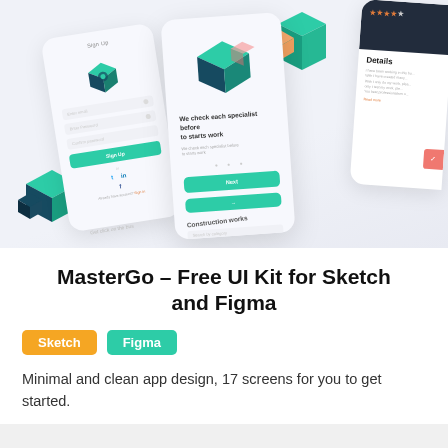[Figure (screenshot): UI kit mockup showing multiple mobile app screens with teal/green design elements, 3D cube illustrations, sign up form, and details card screens]
MasterGo – Free UI Kit for Sketch and Figma
Sketch
Figma
Minimal and clean app design, 17 screens for you to get started.